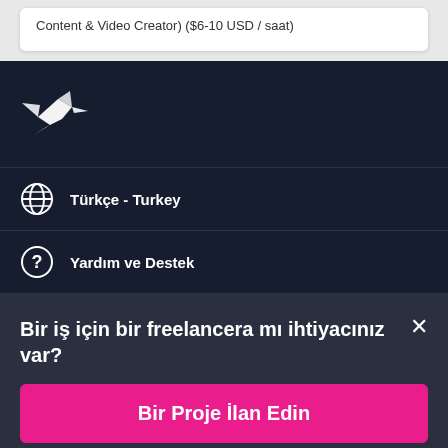Content & Video Creator) ($6-10 USD / saat)
[Figure (logo): Freelancer.com hummingbird logo in white on dark navy background]
Türkçe - Turkey
Yardım ve Destek
Bir iş için bir freelancera mı ihtiyacınız var?
Bir Proje İlan Edin